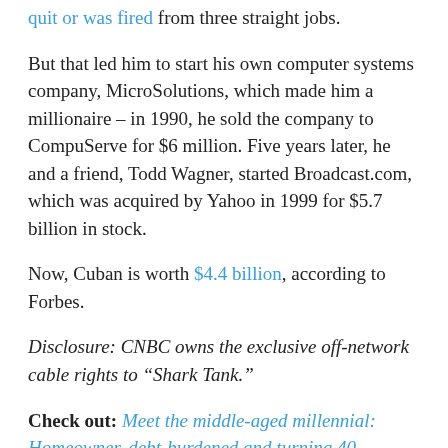quit or was fired from three straight jobs.
But that led him to start his own computer systems company, MicroSolutions, which made him a millionaire – in 1990, he sold the company to CompuServe for $6 million. Five years later, he and a friend, Todd Wagner, started Broadcast.com, which was acquired by Yahoo in 1999 for $5.7 billion in stock.
Now, Cuban is worth $4.4 billion, according to Forbes.
Disclosure: CNBC owns the exclusive off-network cable rights to "Shark Tank."
Check out: Meet the middle-aged millennial: Homeowner, debt-burdened and turning 40
Don't miss: